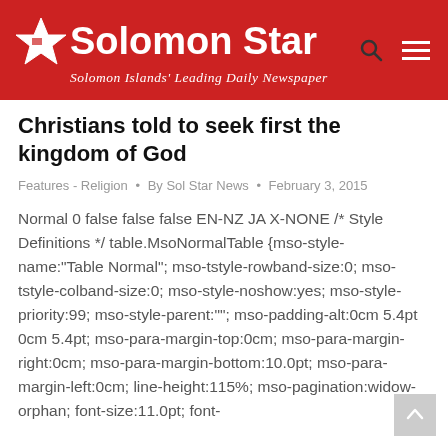Solomon Star — Solomon Islands' Leading Daily Newspaper
Christians told to seek first the kingdom of God
Features - Religion • By Sol Star News • February 3, 2015
Normal 0 false false false EN-NZ JA X-NONE /* Style Definitions */ table.MsoNormalTable {mso-style-name:"Table Normal"; mso-tstyle-rowband-size:0; mso-tstyle-colband-size:0; mso-style-noshow:yes; mso-style-priority:99; mso-style-parent:""; mso-padding-alt:0cm 5.4pt 0cm 5.4pt; mso-para-margin-top:0cm; mso-para-margin-right:0cm; mso-para-margin-bottom:10.0pt; mso-para-margin-left:0cm; line-height:115%; mso-pagination:widow-orphan; font-size:11.0pt; font-